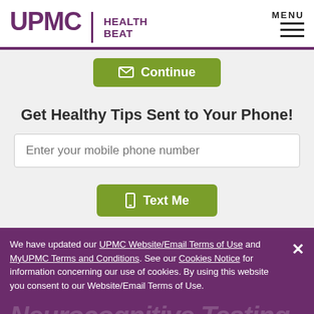UPMC | HEALTH BEAT
[Figure (screenshot): Continue button with envelope icon, olive/green color]
Get Healthy Tips Sent to Your Phone!
Enter your mobile phone number
[Figure (screenshot): Text Me button with phone icon, olive/green color]
We have updated our UPMC Website/Email Terms of Use and MyUPMC Terms and Conditions. See our Cookies Notice for information concerning our use of cookies. By using this website you consent to our Website/Email Terms of Use.
Neurocognitive Testing